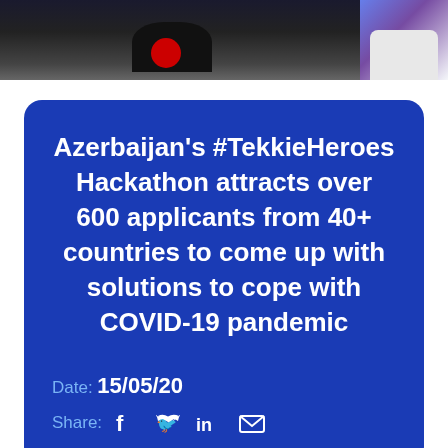[Figure (photo): Top portion of page showing two partial photos side by side: a dark image on the left (appears to show a dark object with red element) and a lighter image on the right (appears to show teeth/smile)]
Azerbaijan's #TekkieHeroes Hackathon attracts over 600 applicants from 40+ countries to come up with solutions to cope with COVID-19 pandemic
Date: 15/05/20
Share: f [Twitter] in [Email]